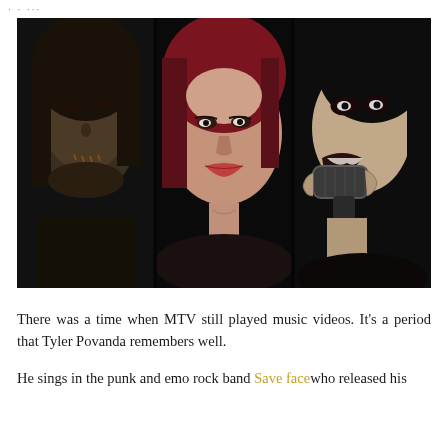· · ···
[Figure (photo): A dark, dramatic composite photo showing three faces: on the left, a person with long dark hair and a sutured/stitched mouth expression; in the center, a young woman with red/dark hair looking directly at the camera; on the right, a person with dark makeup biting a microphone aggressively. Dark/black background with moody lighting.]
There was a time when MTV still played music videos. It’s a period that Tyler Povanda remembers well.
He sings in the punk and emo rock band Save face who released his